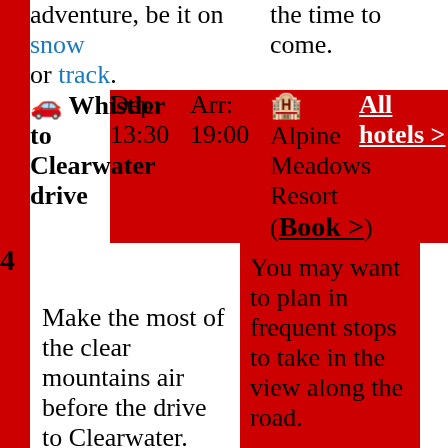adventure, be it on snow or track.
the time to come.
|  | Route | Dep | Arr | Hotel | Links |
| --- | --- | --- | --- | --- | --- |
|  | 🚗 Whistler to Clearwater drive | Dep: 13:30 | Arr: 19:00 | 🏨 Alpine Meadows Resort (Book >) | All hotels > |
Make the most of the clear mountains air before the drive to Clearwater.
You may want to plan in frequent stops to take in the view along the road.